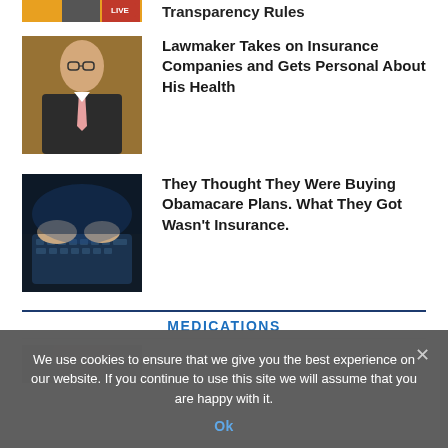[Figure (photo): Partial top image with colorful icons and a LIVE badge, showing top portion only]
Transparency Rules
[Figure (photo): Photo of a man in glasses and suit with pink tie, sitting at a desk in a formal setting]
Lawmaker Takes on Insurance Companies and Gets Personal About His Health
[Figure (photo): Close-up photo of hands typing on a keyboard in dark lighting]
They Thought They Were Buying Obamacare Plans. What They Got Wasn't Insurance.
MEDICATIONS
[Figure (photo): Partial photo at bottom, lightly visible, cut off by cookie banner]
We use cookies to ensure that we give you the best experience on our website. If you continue to use this site we will assume that you are happy with it.
Ok